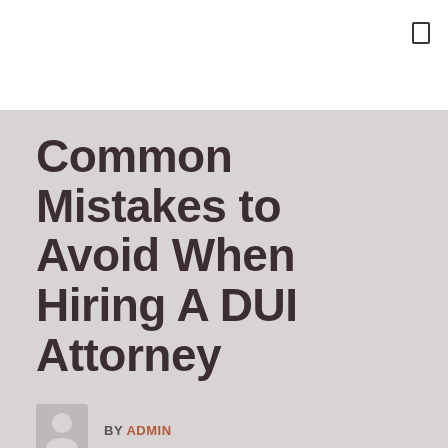Common Mistakes to Avoid When Hiring A DUI Attorney
BY ADMIN
FEBRUARY 11, 2022
2 VIEWS
When it comes to choosing a DUI attorney, there are many things you need to take into account. Unfortunately, many